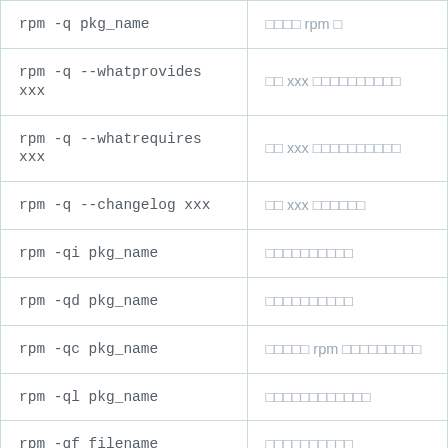| Command | Description |
| --- | --- |
| rpm -q pkg_name | □□□□ rpm □ |
| rpm -q --whatprovides xxx | □□ xxx □□□□□□□□□□ |
| rpm -q --whatrequires xxx | □□ xxx □□□□□□□□□□ |
| rpm -q --changelog xxx | □□ xxx □□□□□□ |
| rpm -qi pkg_name | □□□□□□□□□□ |
| rpm -qd pkg_name | □□□□□□□□□□ |
| rpm -qc pkg_name | □□□□□ rpm □□□□□□□□□ |
| rpm -ql pkg_name | □□□□□□□□□□□□ |
| rpm -qf filename | □□□□□□□□□□ |